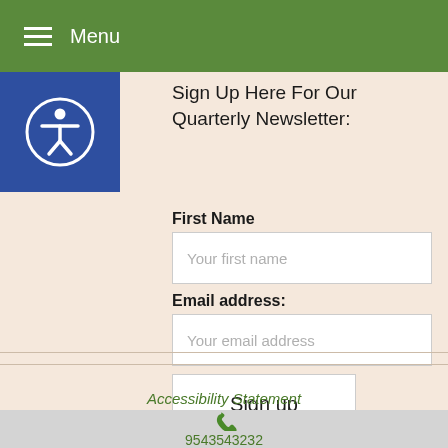Menu
[Figure (illustration): Blue square accessibility icon with a person in a circle (wheelchair accessibility symbol)]
Sign Up Here For Our Quarterly Newsletter:
First Name
Your first name
Email address:
Your email address
Sign up
Accessibility Statement
9543543232